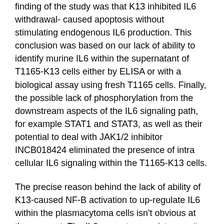finding of the study was that K13 inhibited IL6 withdrawal- caused apoptosis without stimulating endogenous IL6 production. This conclusion was based on our lack of ability to identify murine IL6 within the supernatant of T1165-K13 cells either by ELISA or with a biological assay using fresh T1165 cells. Finally, the possible lack of phosphorylation from the downstream aspects of the IL6 signaling path, for example STAT1 and STAT3, as well as their potential to deal with JAK1/2 inhibitor INCB018424 eliminated the presence of intra cellular IL6 signaling within the T1165-K13 cells.
The precise reason behind the lack of ability of K13-caused NF-B activation to up-regulate IL6 within the plasmacytoma cells isn't obvious at the moment. The IL6 promoter consists [supplier Taxifolin] of binding sites for many transcriptional factors. Research conducted recently shown that four transcriptional sites, NF-B, AP1,cAMPresponse element- binding protein, and CCAAT-enhancer-binding proteins, were with each other accountable for maximal IL6 expression within the IM9 myeloma cell line. Of these sites, the AP1- binding site